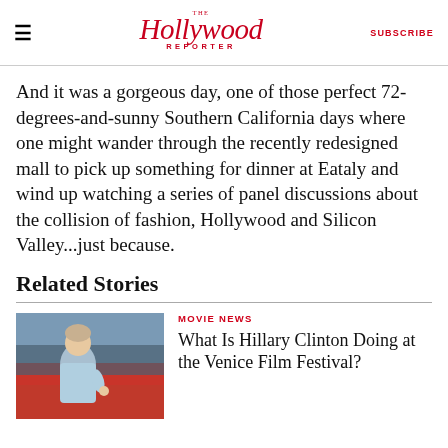The Hollywood Reporter | SUBSCRIBE
And it was a gorgeous day, one of those perfect 72-degrees-and-sunny Southern California days where one might wander through the recently redesigned mall to pick up something for dinner at Eataly and wind up watching a series of panel discussions about the collision of fashion, Hollywood and Silicon Valley...just because.
Related Stories
[Figure (photo): Woman in light blue outfit on a red carpet with crowd in background]
MOVIE NEWS
What Is Hillary Clinton Doing at the Venice Film Festival?